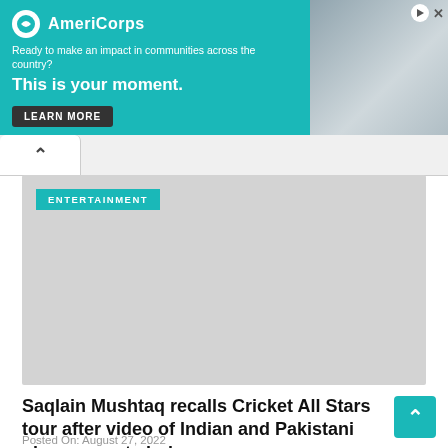[Figure (other): AmeriCorps advertisement banner with teal background. Logo with circular icon and text 'AmeriCorps'. Tagline: 'Ready to make an impact in communities across the country?' Main text: 'This is your moment.' with a 'LEARN MORE' button. Right side shows a photo of a person.]
ENTERTAINMENT
[Figure (other): Gray video placeholder image with ENTERTAINMENT category label in teal overlay at top left.]
Saqlain Mushtaq recalls Cricket All Stars tour after video of Indian and Pakistani players went viral
Posted On: August 27, 2022